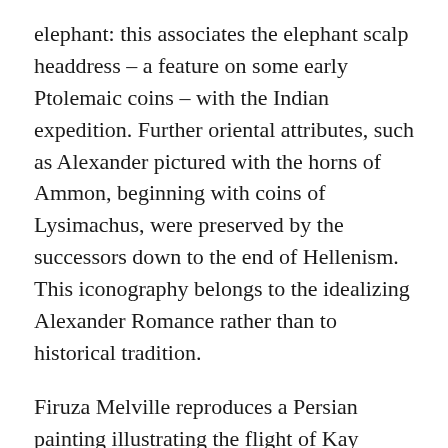elephant: this associates the elephant scalp headdress – a feature on some early Ptolemaic coins – with the Indian expedition. Further oriental attributes, such as Alexander pictured with the horns of Ammon, beginning with coins of Lysimachus, were preserved by the successors down to the end of Hellenism. This iconography belongs to the idealizing Alexander Romance rather than to historical tradition.
Firuza Melville reproduces a Persian painting illustrating the flight of Kay Kavus, a king of the Kiyanian (Achaemenid) dynasty, in an edition of Firdousi's Shahnama. The king is seated in a flying machine lifted by four hungry eagles striving to reach pieces of meat attached to poles above their heads. The ancient Mesopotamian